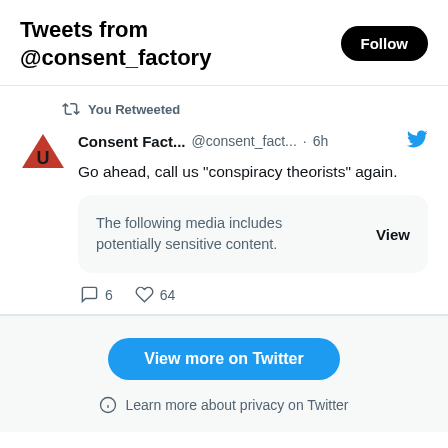Tweets from @consent_factory
You Retweeted
Consent Fact... @consent_fact... · 6h
Go ahead, call us "conspiracy theorists" again.
The following media includes potentially sensitive content. View
6  64
View more on Twitter
Learn more about privacy on Twitter